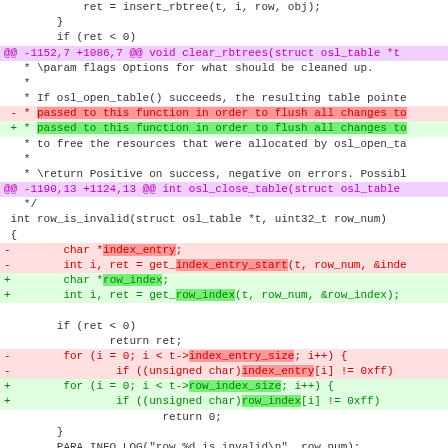[Figure (screenshot): Git diff code view showing changes to C source code involving rbtree and osl_table functions. Removed lines (red) and added lines (green) are shown with diff markers. Hunk headers shown in purple. Code includes function signatures, variable declarations, and loop logic.]